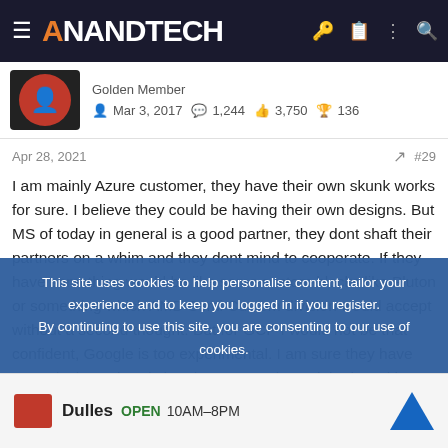AnandTech
Golden Member
Mar 3, 2017   1,244   3,750   136
Apr 28, 2021   #29
I am mainly Azure customer, they have their own skunk works for sure. I believe they could be having their own designs. But MS of today in general is a good partner, they dont shaft their partners on a whim and they dont mind to cooperate. If they have something would be like some custom blocks like Pluton or something which AMD Semi Custom division would accept without a second thought. But for GCP I would not be that confident, Google is too experimental. I am sure they have ARM designs already but they are too busy tinkering with many things. And can drop it as soon as they
This site uses cookies to help personalise content, tailor your experience and to keep you logged in if you register.
By continuing to use this site, you are consenting to our use of cookies.
Dulles  OPEN  10AM–8PM